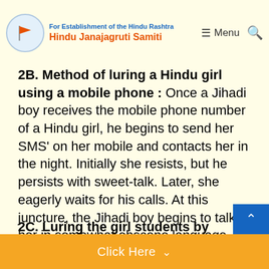For Establishment of the Hindu Rashtra | Hindu Janajagruti Samiti | Menu | Search
2B. Method of luring a Hindu girl using a mobile phone :
Once a Jihadi boy receives the mobile phone number of a Hindu girl, he begins to send her SMS' on her mobile and contacts her in the night. Initially she resists, but he persists with sweet-talk. Later, she eagerly waits for his calls. At this juncture, the Jihadi boy begins to talk to her in somewhat obscene language and she is then ensnared in his love-dragnet.'
2C. Luring the girl students by gifting them mobile phones :
'Jihadi boys gift mobile phone to those girls who do not have ability to purchase it. While personally visiting the houses of the girls who had committed su... common thing...